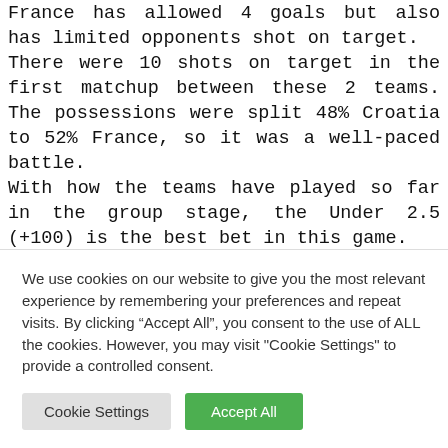France has allowed 4 goals but also has limited opponents shot on target. There were 10 shots on target in the first matchup between these 2 teams. The possessions were split 48% Croatia to 52% France, so it was a well-paced battle. With how the teams have played so far in the group stage, the Under 2.5 (+100) is the best bet in this game.
We use cookies on our website to give you the most relevant experience by remembering your preferences and repeat visits. By clicking “Accept All”, you consent to the use of ALL the cookies. However, you may visit "Cookie Settings" to provide a controlled consent.